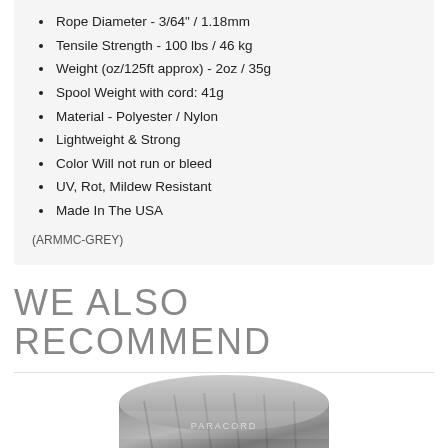Rope Diameter - 3/64" / 1.18mm
Tensile Strength - 100 lbs / 46 kg
Weight (oz/125ft approx) - 2oz / 35g
Spool Weight with cord: 41g
Material - Polyester / Nylon
Lightweight & Strong
Color Will not run or bleed
UV, Rot, Mildew Resistant
Made In The USA
(ARMMC-GREY)
WE ALSO RECOMMEND
[Figure (photo): Product photo of a grey rope/cord spool item, partially visible at bottom of page]